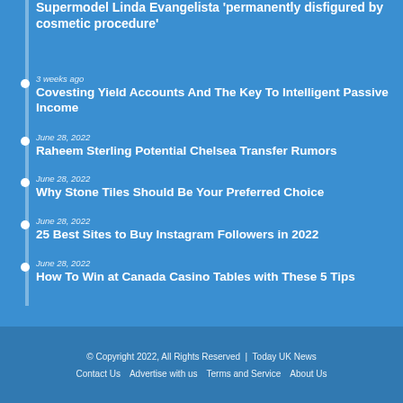Supermodel Linda Evangelista 'permanently disfigured by cosmetic procedure'
3 weeks ago
Covesting Yield Accounts And The Key To Intelligent Passive Income
June 28, 2022
Raheem Sterling Potential Chelsea Transfer Rumors
June 28, 2022
Why Stone Tiles Should Be Your Preferred Choice
June 28, 2022
25 Best Sites to Buy Instagram Followers in 2022
June 28, 2022
How To Win at Canada Casino Tables with These 5 Tips
© Copyright 2022, All Rights Reserved  |  Today UK News
Contact Us   Advertise with us   Terms and Service   About Us